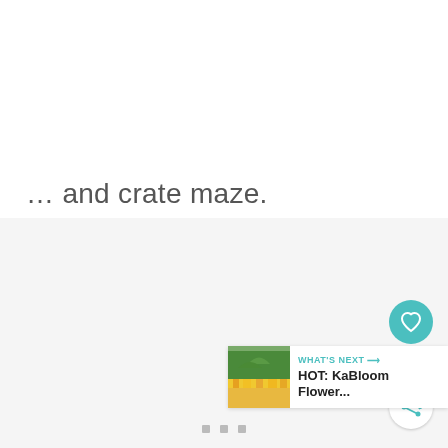… and crate maze.
[Figure (screenshot): Gray UI panel with a teal heart/like button showing count of 2, a share button, a 'WHAT'S NEXT' banner with a thumbnail of a flower field and text 'HOT: KaBloom Flower...', and three gray square pagination dots at the bottom.]